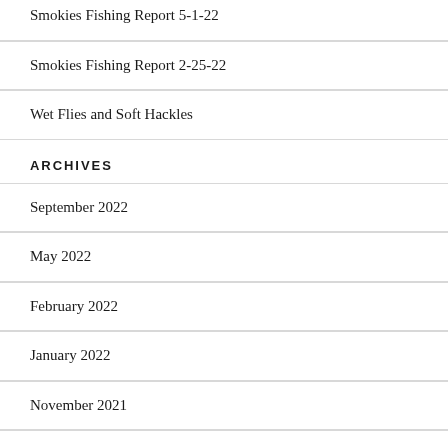Smokies Fishing Report 5-1-22
Smokies Fishing Report 2-25-22
Wet Flies and Soft Hackles
ARCHIVES
September 2022
May 2022
February 2022
January 2022
November 2021
October 2021